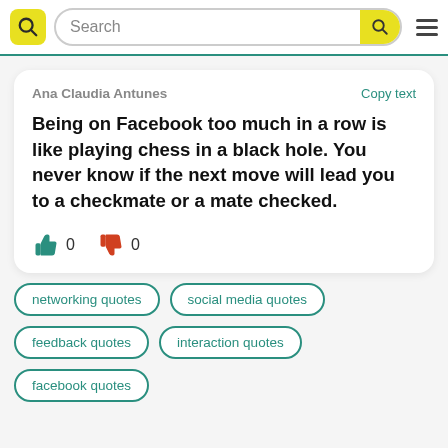Search
Ana Claudia Antunes
Copy text
Being on Facebook too much in a row is like playing chess in a black hole. You never know if the next move will lead you to a checkmate or a mate checked.
0 0
networking quotes
social media quotes
feedback quotes
interaction quotes
facebook quotes